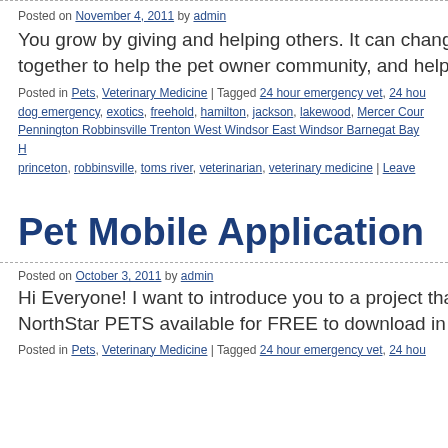Posted on November 4, 2011 by admin
You grow by giving and helping others. It can change you together to help the pet owner community, and help their
Posted in Pets, Veterinary Medicine | Tagged 24 hour emergency vet, 24 hou dog emergency, exotics, freehold, hamilton, jackson, lakewood, Mercer Cour Pennington Robbinsville Trenton West Windsor East Windsor Barnegat Bay H princeton, robbinsville, toms river, veterinarian, veterinary medicine | Leave
Pet Mobile Application
Posted on October 3, 2011 by admin
Hi Everyone! I want to introduce you to a project that we'v NorthStar PETS available for FREE to download in the App
Posted in Pets, Veterinary Medicine | Tagged 24 hour emergency vet, 24 hou